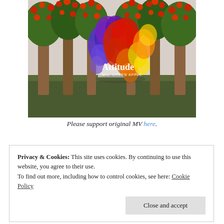[Figure (illustration): Album art for 'Attitude' by Mrs. GREEN APPLE. Shows apple trees with red apples on both sides, and a colorful horse-shaped smoke/powder explosion in the center (blue, purple, red, orange, yellow). White text reads 'Attitude' and 'Mrs. GREEN APPLE' on the image.]
Please support original MV here.
Privacy & Cookies: This site uses cookies. By continuing to use this website, you agree to their use. To find out more, including how to control cookies, see here: Cookie Policy